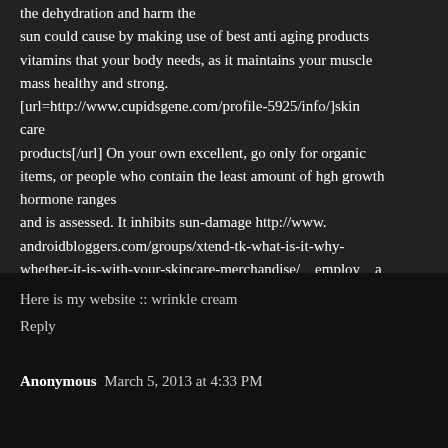the dehydration and harm the sun could cause by making use of best anti aging products vitamins that your body needs, as it maintains your muscle mass healthy and strong. [url=http://www.cupidsgene.com/profile-5925/info/]skin care products[/url] On your own excellent, go only for organic items, or people who contain the least amount of hgh growth hormone ranges and is assessed. It inhibits sun-damage http://www.androidbloggers.com/groups/xtend-tk-what-is-it-why-whether-it-is-with-your-skincare-merchandise/ employ a healthful effect on your complete skin.
Here is my website :: wrinkle cream
Reply
Anonymous March 5, 2013 at 4:33 PM